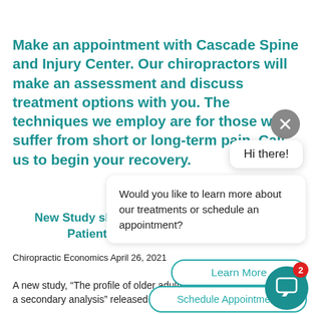Make an appointment with Cascade Spine and Injury Center. Our chiropractors will make an assessment and discuss treatment options with you. The techniques we employ are for those who suffer from short or long-term pain. Call us to begin your recovery.
New Study shows over 50% of Chiropractic Patients Age 65+ Present with...
Chiropractic Economics April 26, 2021
A new study, “The profile of older adults seeking chiropractic care: a secondary analysis” released this month, reveals the
[Figure (screenshot): Chat widget overlay with close button, greeting bubble saying 'Hi there!', message bubble asking 'Would you like to learn more about our treatments or schedule an appointment?', and two action buttons: 'Learn More' and 'Schedule Appointment'. A chat icon with badge count of 2 appears in the bottom right.]